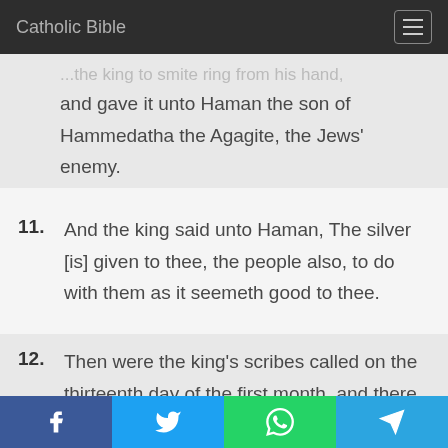Catholic Bible
...and the king to smite ring from his hand, and gave it unto Haman the son of Hammedatha the Agagite, the Jews' enemy.
11. And the king said unto Haman, The silver [is] given to thee, the people also, to do with them as it seemeth good to thee.
12. Then were the king's scribes called on the thirteenth day of the first month, and there was written according to all that Haman had commanded unto the
f  [Twitter]  [WhatsApp]  [Telegram]